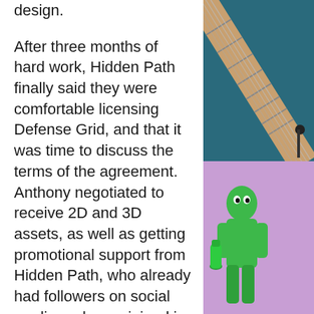design.
After three months of hard work, Hidden Path finally said they were comfortable licensing Defense Grid, and that it was time to discuss the terms of the agreement. Anthony negotiated to receive 2D and 3D assets, as well as getting promotional support from Hidden Path, who already had followers on social media and even joined in on two live stream plays with them.
Anthony and his team had to report every two weeks on their progress and let the licensor sign off on all PDF assets before the Kickstarter and manufacturing. "The
[Figure (photo): Top: photo of a guitar neck/fretboard on a teal/dark blue background. Bottom: photo of a green figurine/character on a purple/lavender background.]